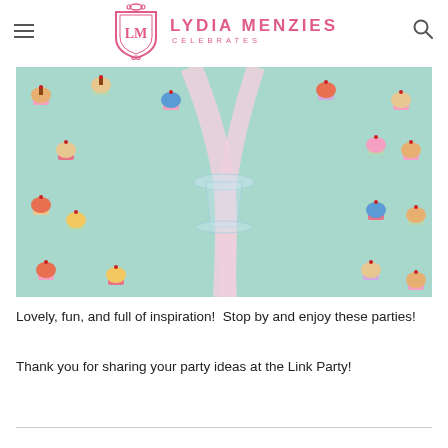LYDIA MENZIES CELEBRATES
[Figure (photo): Close-up photo of a glass cake stand base with a pink ribbon tied around it, sitting on mint green fabric printed with colorful cupcake illustrations]
Lovely, fun, and full of inspiration!  Stop by and enjoy these parties!
Thank you for sharing your party ideas at the Link Party!